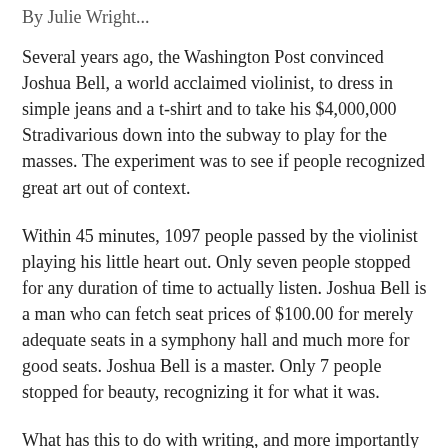By Julie Wright...
Several years ago, the Washington Post convinced Joshua Bell, a world acclaimed violinist, to dress in simple jeans and a t-shirt and to take his $4,000,000 Stradivarious down into the subway to play for the masses. The experiment was to see if people recognized great art out of context.
Within 45 minutes, 1097 people passed by the violinist playing his little heart out. Only seven people stopped for any duration of time to actually listen. Joshua Bell is a man who can fetch seat prices of $100.00 for merely adequate seats in a symphony hall and much more for good seats. Joshua Bell is a master. Only 7 people stopped for beauty, recognizing it for what it was.
What has this to do with writing, and more importantly with you?
I recently heard an editor say that they don't normally take middle grade work, but if Neil Gaiman walked in, they would never refuse him simply because his protagonist's were a little young for this imprint. They could say this because they